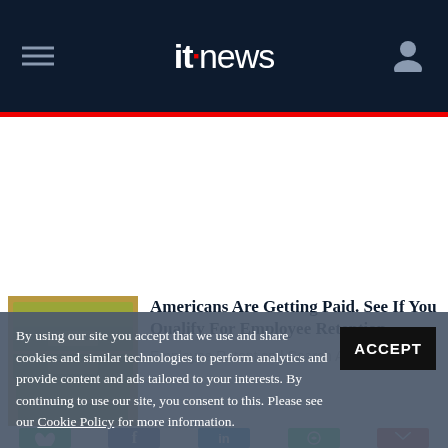itnews
[Figure (photo): Stack of US dollar bills]
Americans Are Getting Paid. See If You Qualify For Employee Retention.
Employee Retention | Search Ad
[Figure (photo): Green background with gold credit card]
Hands Down One of the Best Cards for Good Credit
By using our site you accept that we use and share cookies and similar technologies to perform analytics and provide content and ads tailored to your interests. By continuing to use our site, you consent to this. Please see our Cookie Policy for more information.